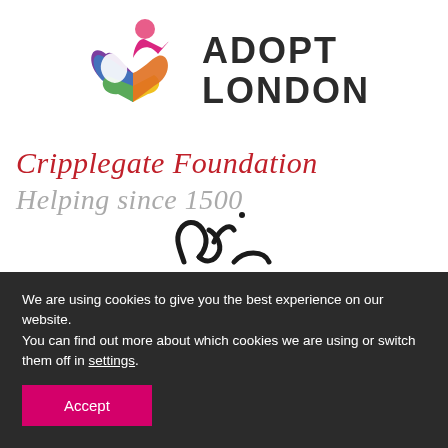[Figure (logo): Adopt London logo: colorful heart/infinity shape with a circle on top representing a person, followed by the text ADOPT LONDON in bold dark letters]
Cripplegate Foundation
Helping since 1500
[Figure (logo): Partially visible third-party logo at the bottom of the white section, appears to be a stylized script/brush mark logo]
We are using cookies to give you the best experience on our website.
You can find out more about which cookies we are using or switch them off in settings.
Accept